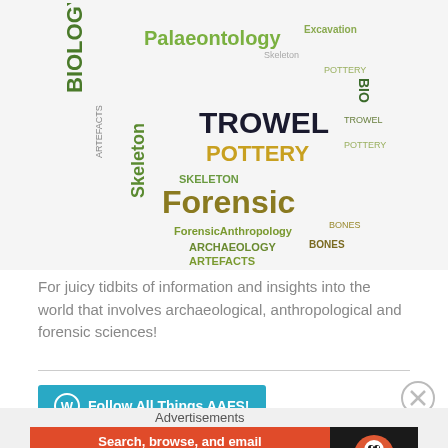[Figure (illustration): Word cloud in the shape of a skull or head, featuring archaeology and forensic science terms: TROWEL, POTTERY, Forensic, Palaeontology, Biology, Skeleton, Artefacts, Anthropology, Archaeology, Bones]
For juicy tidbits of information and insights into the world that involves archaeological, anthropological and forensic sciences!
Follow All Things AAFS!
Advertisements
[Figure (screenshot): DuckDuckGo advertisement banner: Search, browse, and email with more privacy. All in One Free App. DuckDuckGo logo on dark background.]